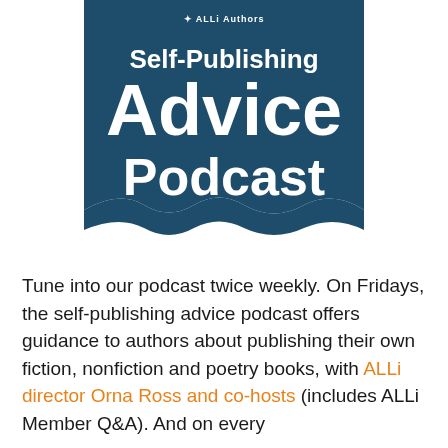[Figure (logo): Self-Publishing Advice Podcast badge/logo — dark teal pennant shape with white text reading 'Self-Publishing Advice Podcast' and a small ALLi Authors mark at the top]
Tune into our podcast twice weekly. On Fridays, the self-publishing advice podcast offers guidance to authors about publishing their own fiction, nonfiction and poetry books, with ALLi director Orna Ross and co-hosts (includes ALLi Member Q&A). And on every